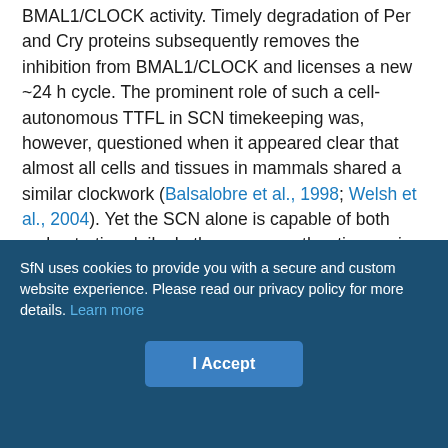BMAL1/CLOCK activity. Timely degradation of Per and Cry proteins subsequently removes the inhibition from BMAL1/CLOCK and licenses a new ~24 h cycle. The prominent role of such a cell-autonomous TTFL in SCN timekeeping was, however, questioned when it appeared clear that almost all cells and tissues in mammals shared a similar clockwork (Balsalobre et al., 1998; Welsh et al., 2004). Yet the SCN alone is capable of both orchestrating daily rhythms across other tissues in vivo, as well as sustaining persistent and synchronous circadian oscillations when isolated in culture. Moreover, genetic deletions of several clock genes were shown to have limited effects in the SCN, in contrast to their debilitating consequences for peripheral tissue oscillators (Liu et al., 2007; Ko et al., 2010).
SfN uses cookies to provide you with a secure and custom website experience. Please read our privacy policy for more details. Learn more
I Accept